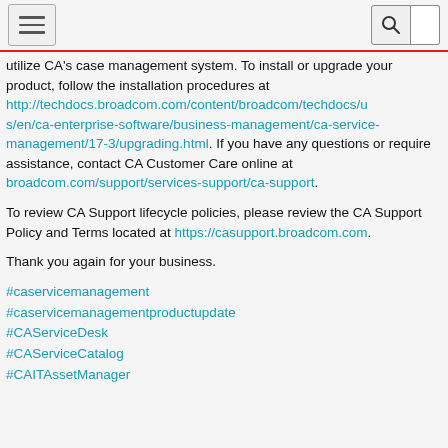[navigation header with hamburger menu and search icon]
utilize CA's case management system. To install or upgrade your product, follow the installation procedures at http://techdocs.broadcom.com/content/broadcom/techdocs/us/en/ca-enterprise-software/business-management/ca-service-management/17-3/upgrading.html. If you have any questions or require assistance, contact CA Customer Care online at broadcom.com/support/services-support/ca-support.
To review CA Support lifecycle policies, please review the CA Support Policy and Terms located at https://casupport.broadcom.com.
Thank you again for your business.
#caservicemanagement
#caservicemanagementproductupdate
#CAServiceDesk
#CAServiceCatalog
#CAITAssetManager